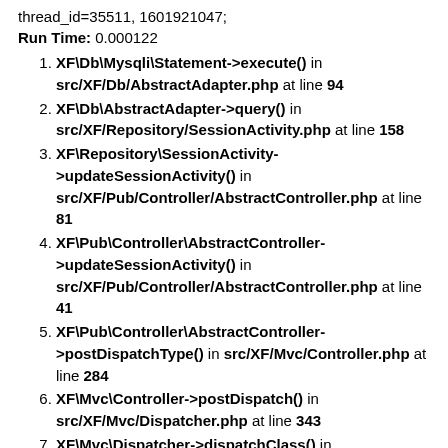thread_id=35511, 1601921047;
Run Time: 0.000122
XF\Db\Mysqli\Statement->execute() in src/XF/Db/AbstractAdapter.php at line 94
XF\Db\AbstractAdapter->query() in src/XF/Repository/SessionActivity.php at line 158
XF\Repository\SessionActivity->updateSessionActivity() in src/XF/Pub/Controller/AbstractController.php at line 81
XF\Pub\Controller\AbstractController->updateSessionActivity() in src/XF/Pub/Controller/AbstractController.php at line 41
XF\Pub\Controller\AbstractController->postDispatchType() in src/XF/Mvc/Controller.php at line 284
XF\Mvc\Controller->postDispatch() in src/XF/Mvc/Dispatcher.php at line 343
XF\Mvc\Dispatcher->dispatchClass() in src/XF/Mvc/Dispatcher.php at line 248
XF\Mvc\Dispatcher->dispatchFromMatch() in src/XF/Mvc/Dispatcher.php at line 100
XF\Mvc\Dispatcher->dispatchLoop() in src/XF/Mvc/Dispatcher.php at line 50